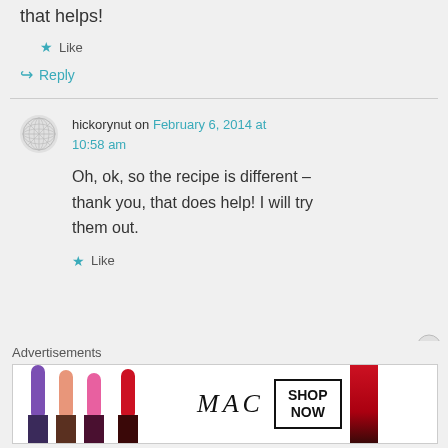that helps!
★ Like
↪ Reply
hickorynut on February 6, 2014 at 10:58 am
Oh, ok, so the recipe is different – thank you, that does help! I will try them out.
★ Like
Advertisements